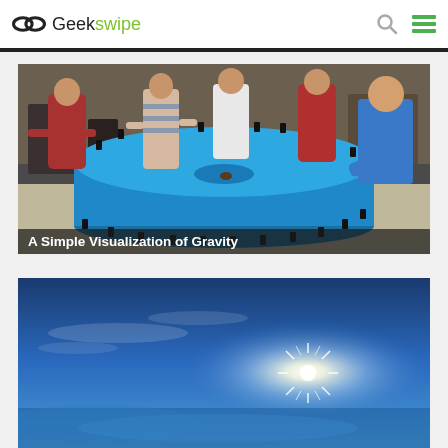Geekswipe
[Figure (photo): People standing around a large circular blue spandex stretched on a cylindrical frame in a classroom. A man in a blue shirt leans over the surface. Caption: A Simple Visualization of Gravity]
A Simple Visualization of Gravity
[Figure (photo): Blue sky with bright sunburst sunlight, wispy clouds on the horizon]